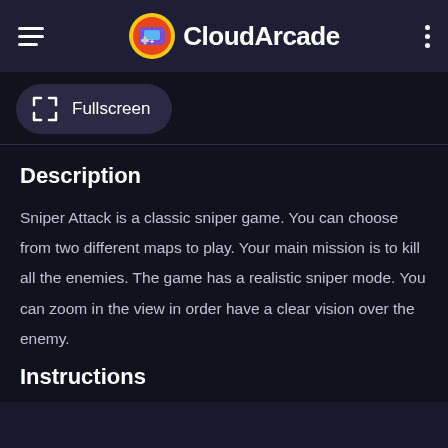CloudArcade
[Figure (screenshot): Fullscreen button with expand icon arrows]
Description
Sniper Attack is a classic sniper game. You can choose from two different maps to play. Your main mission is to kill all the enemies. The game has a realistic sniper mode. You can zoom in the view in order have a clear vision over the enemy.
Instructions